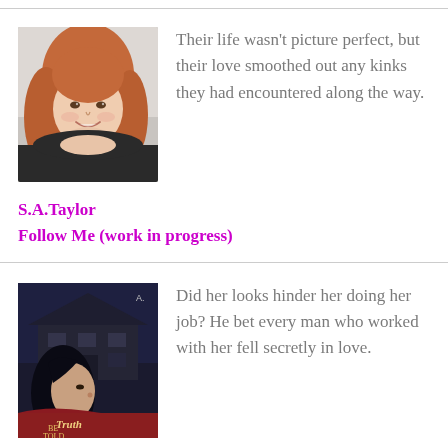[Figure (photo): Portrait photo of a smiling woman with reddish-brown hair, resting her chin on her hand, against a light background.]
Their life wasn't picture perfect, but their love smoothed out any kinks they had encountered along the way.
S.A.Taylor
Follow Me (work in progress)
[Figure (photo): Book cover image for 'Truth Be Told' showing a woman's face in profile against a dark background with a house silhouette.]
Did her looks hinder her doing her job? He bet every man who worked with her fell secretly in love.